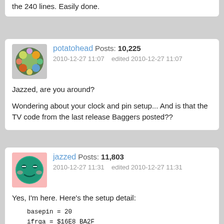the 240 lines. Easily done.
potatohead  Posts: 10,225
2010-12-27 11:07   edited 2010-12-27 11:07
Jazzed, are you around?

Wondering about your clock and pin setup... And is that the TV code from the last release Baggers posted??
jazzed  Posts: 11,803
2010-12-27 11:31   edited 2010-12-27 11:31
Yes, I'm here. Here's the setup detail:
basepin = 20
ifrqa = $16E8_BA2F
idira = $0070_0000
ictra = %0_00001_110_000000000_000000_000_00001
icfra = %0_11_1_0_1_000_000000000000_010_0_011